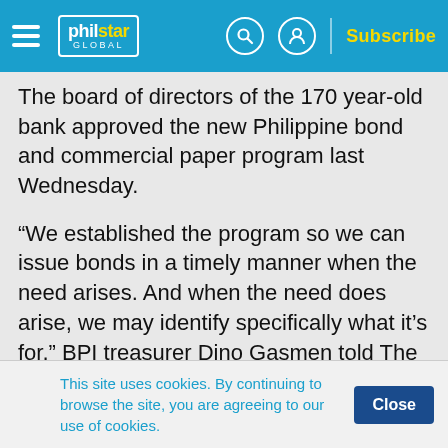philstar GLOBAL — Subscribe
The board of directors of the 170 year-old bank approved the new Philippine bond and commercial paper program last Wednesday.
“We established the program so we can issue bonds in a timely manner when the need arises. And when the need does arise, we may identify specifically what it’s for,” BPI treasurer Dino Gasmen told The STAR.
This site uses cookies. By continuing to browse the site, you are agreeing to our use of cookies.